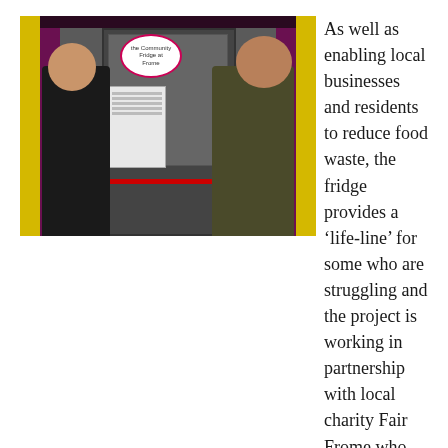[Figure (photo): Two women standing in front of a Community Fridge door. The fridge has a pink/purple circular sign reading 'the Community Fridge at Frome'. Yellow vertical stripes on either side of the installation. A red ribbon appears to be cut. There are information signs posted on the door.]
As well as enabling local businesses and residents to reduce food waste, the fridge provides a ‘life-line’ for some who are struggling and the project is working in partnership with local charity Fair Frome who run the local food bank. The fridge is open every day from 8am and 8pm for anyone to use.
A text beginning with large italic letters (partially visible at bottom)